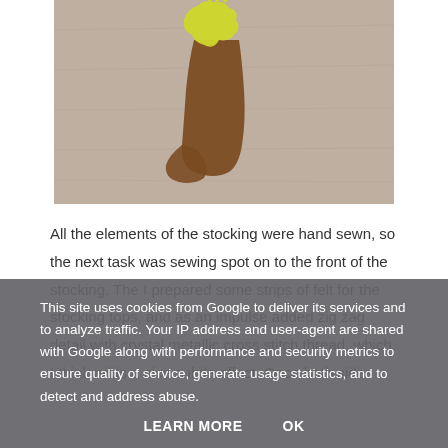[Figure (photo): A brown felt stocking with a yellow animal shape (possibly a dog or bear) on top, photographed on a grey carpet background.]
All the elements of the stocking were hand sewn, so the next task was sewing spot on to the front of the stocking. The I prepared some strips of felt for the stocking tops, and as an impulse added zig zag detail with crystal metallic cross stitch thread, which I think adds a nice subtle effect. Once both sides
This site uses cookies from Google to deliver its services and to analyze traffic. Your IP address and user-agent are shared with Google along with performance and security metrics to ensure quality of service, generate usage statistics, and to detect and address abuse.
LEARN MORE    OK